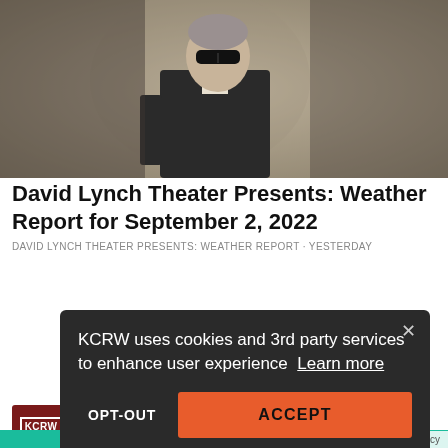[Figure (photo): Man in black suit and sunglasses standing against a grey textured wall, looking to the side.]
David Lynch Theater Presents: Weather Report for September 2, 2022
DAVID LYNCH THEATER PRESENTS: WEATHER REPORT · YESTERDAY
KCRW uses cookies and 3rd party services to enhance user experience Learn more
OPT-OUT
ACCEPT